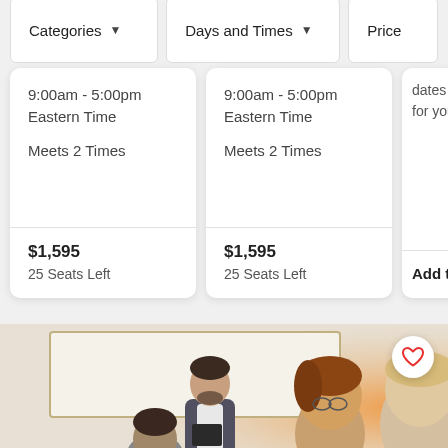Categories ▼   Days and Times ▼   Price
9:00am - 5:00pm Eastern Time
Meets 2 Times
$1,595
25 Seats Left
9:00am - 5:00pm Eastern Time
Meets 2 Times
$1,595
25 Seats Left
dates tha for you?
Add to W
[Figure (photo): Classroom scene with an instructor standing in front of a whiteboard holding a clipboard/folder, and students in the foreground with warm backlit lighting. A heart/wishlist button is visible in the top right corner.]